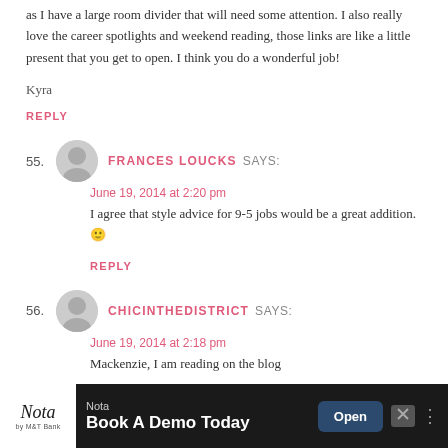as I have a large room divider that will need some attention. I also really love the career spotlights and weekend reading, those links are like a little present that you get to open. I think you do a wonderful job!
Kyra
REPLY
55. FRANCES LOUCKS SAYS:
June 19, 2014 at 2:20 pm
I agree that style advice for 9-5 jobs would be a great addition. 🙂
REPLY
56. CHICINTHEDISTRICT SAYS:
June 19, 2014 at 2:18 pm
Mackenzie, I am reading on the blog
REPLY
[Figure (other): Advertisement banner: Nota - Book A Demo Today, with Open button]